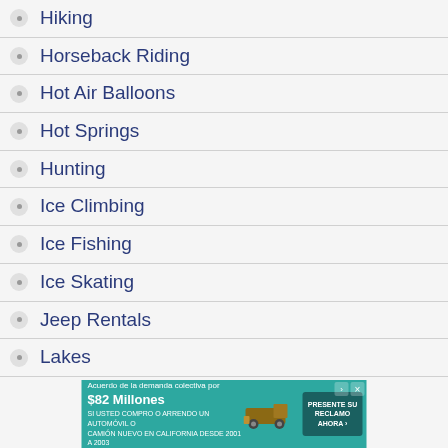Hiking
Horseback Riding
Hot Air Balloons
Hot Springs
Hunting
Ice Climbing
Ice Fishing
Ice Skating
Jeep Rentals
Lakes
[Figure (other): Advertisement banner in Spanish for a class action lawsuit settlement of $82 million for automobile purchases in California 2001-2003]